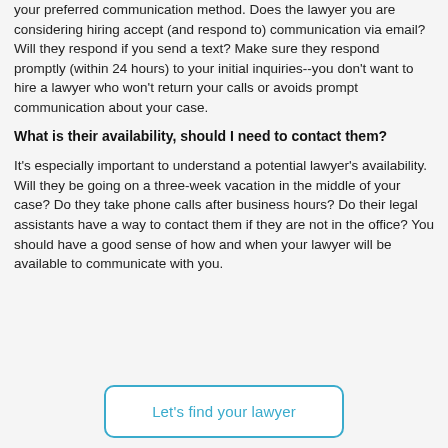your preferred communication method. Does the lawyer you are considering hiring accept (and respond to) communication via email? Will they respond if you send a text? Make sure they respond promptly (within 24 hours) to your initial inquiries--you don't want to hire a lawyer who won't return your calls or avoids prompt communication about your case.
What is their availability, should I need to contact them?
It's especially important to understand a potential lawyer's availability. Will they be going on a three-week vacation in the middle of your case? Do they take phone calls after business hours? Do their legal assistants have a way to contact them if they are not in the office? You should have a good sense of how and when your lawyer will be available to communicate with you.
Let's find your lawyer